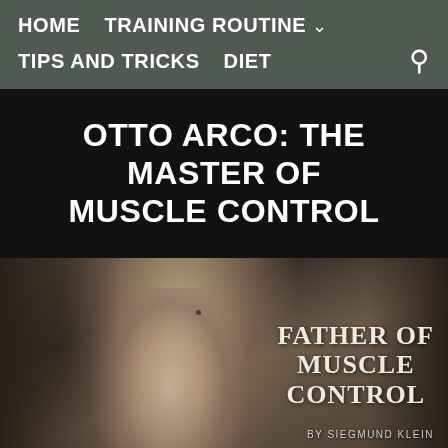HOME  TRAINING ROUTINE ∨  TIPS AND TRICKS  DIET
OTTO ARCO: THE MASTER OF MUSCLE CONTROL
[Figure (photo): Vintage black-and-white photograph of Otto Arco showing his muscular physique, with overlaid text reading 'FATHER OF MUSCLE CONTROL' and 'BY SIEGMUND KLEIN']